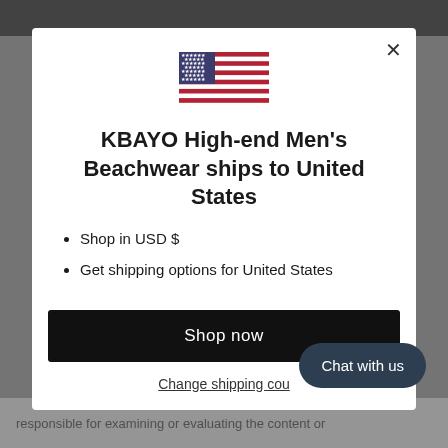[Figure (illustration): US flag emoji/icon centered at top of modal]
KBAYO High-end Men's Beachwear ships to United States
Shop in USD $
Get shipping options for United States
Shop now
Change shipping cou
Chat with us
responsible for examining or evaluating the content or